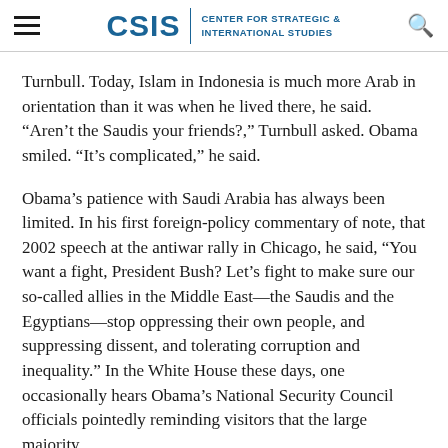CSIS | CENTER FOR STRATEGIC & INTERNATIONAL STUDIES
Turnbull. Today, Islam in Indonesia is much more Arab in orientation than it was when he lived there, he said. “Aren’t the Saudis your friends?,” Turnbull asked. Obama smiled. “It’s complicated,” he said.
Obama’s patience with Saudi Arabia has always been limited. In his first foreign-policy commentary of note, that 2002 speech at the antiwar rally in Chicago, he said, “You want a fight, President Bush? Let’s fight to make sure our so-called allies in the Middle East—the Saudis and the Egyptians—stop oppressing their own people, and suppressing dissent, and tolerating corruption and inequality.” In the White House these days, one occasionally hears Obama’s National Security Council officials pointedly reminding visitors that the large majority